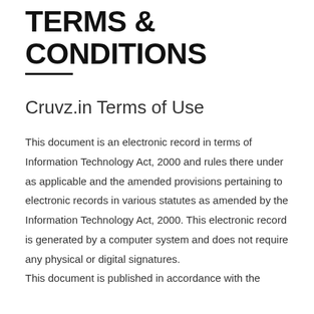TERMS & CONDITIONS
Cruvz.in Terms of Use
This document is an electronic record in terms of Information Technology Act, 2000 and rules there under as applicable and the amended provisions pertaining to electronic records in various statutes as amended by the Information Technology Act, 2000. This electronic record is generated by a computer system and does not require any physical or digital signatures.
This document is published in accordance with the